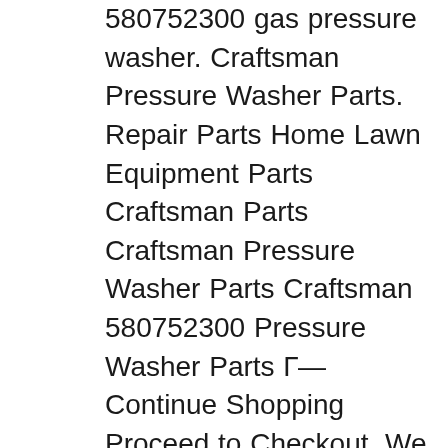580752300 gas pressure washer. Craftsman Pressure Washer Parts. Repair Parts Home Lawn Equipment Parts Craftsman Parts Craftsman Pressure Washer Parts Craftsman 580752300 Pressure Washer Parts Г— Continue Shopping Proceed to Checkout. We Sell Only Genuine Craftsman Parts. Craftsman 580752300 Pressure Washer Parts. Find Part by Symptom. Search within model. Questions & Answers Main Unit. Pump. Previous. вЂ¦ Shop for CRAFTSMAN CRAFTSMAN 6.0HP 21. Tune-up Kit for Briggs and Stratton Quantum Engines В· Screw В· Hinge Screw В· Lock Washer В· Washer. my Briggs and Stratton CV 2100 choremaster leaks w. Briggs &